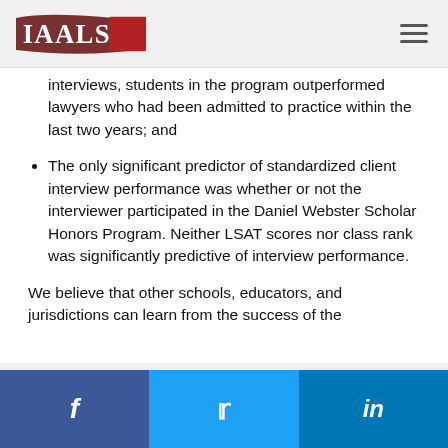IAALS logo and navigation
interviews, students in the program outperformed lawyers who had been admitted to practice within the last two years; and
The only significant predictor of standardized client interview performance was whether or not the interviewer participated in the Daniel Webster Scholar Honors Program. Neither LSAT scores nor class rank was significantly predictive of interview performance.
We believe that other schools, educators, and jurisdictions can learn from the success of the
f  (Facebook)  (Twitter) in (LinkedIn)